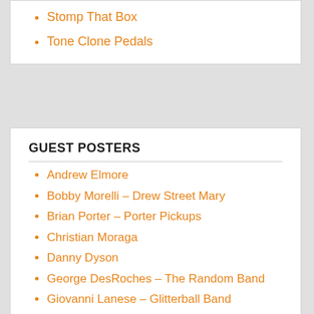Stomp That Box
Tone Clone Pedals
GUEST POSTERS
Andrew Elmore
Bobby Morelli – Drew Street Mary
Brian Porter – Porter Pickups
Christian Moraga
Danny Dyson
George DesRoches – The Random Band
Giovanni Lanese – Glitterball Band
I Hate Barre Chords
Kevin Ian Common – The Common Men
Lee Chavez
Mark Grundhoefer